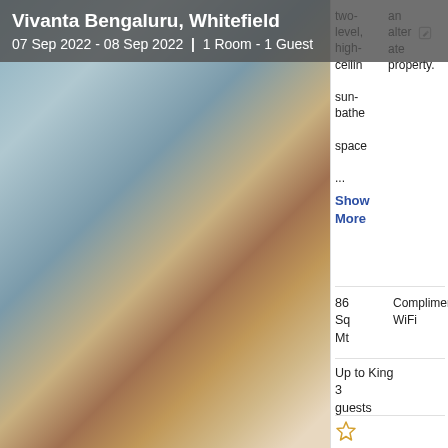Vivanta Bengaluru, Whitefield
07 Sep 2022 - 08 Sep 2022 | 1 Room - 1 Guest
[Figure (photo): Interior hotel room photo showing glass railings, wooden furniture, and decorative rug]
an alternate property.
two-level, high-ceiling sun-bathe space ...
Show More
86 Sq Mt
Complimentary WiFi
Up to King 3 guests
Bath